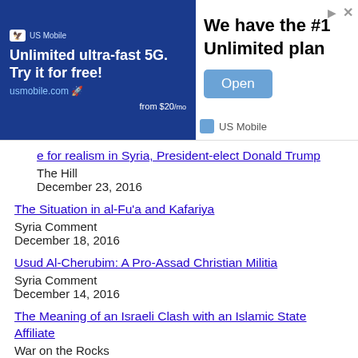[Figure (screenshot): Advertisement banner for US Mobile 5G plan: 'Unlimited ultra-fast 5G. Try it for free! usmobile.com from $20/mo' with 'We have the #1 Unlimited plan' and an Open button. Sponsored by US Mobile.]
e for realism in Syria, President-elect Donald Trump
The Hill
December 23, 2016
The Situation in al-Fu'a and Kafariya
Syria Comment
December 18, 2016
Usud Al-Cherubim: A Pro-Assad Christian Militia
Syria Comment
December 14, 2016
The Meaning of an Israeli Clash with an Islamic State Affiliate
War on the Rocks
December 13, 2016
Saraya al-Areen: An Alawite Militia in Latakia
Syria Comment
December 11, 2016
Saraya Al-Tawheed: A Pro-Assad Druze Militia in Lebanon and Syria